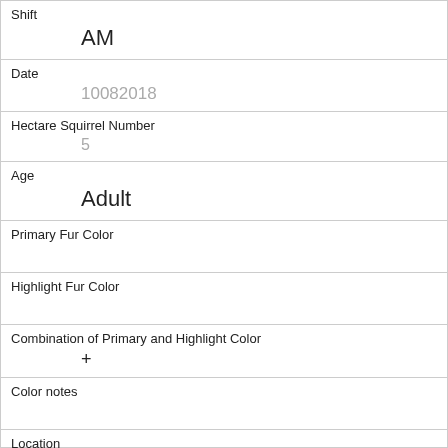| Shift | AM |
| Date | 10082018 |
| Hectare Squirrel Number | 5 |
| Age | Adult |
| Primary Fur Color |  |
| Highlight Fur Color |  |
| Combination of Primary and Highlight Color | + |
| Color notes |  |
| Location | Above Ground |
| Above Ground Sighter Measurement | 100 |